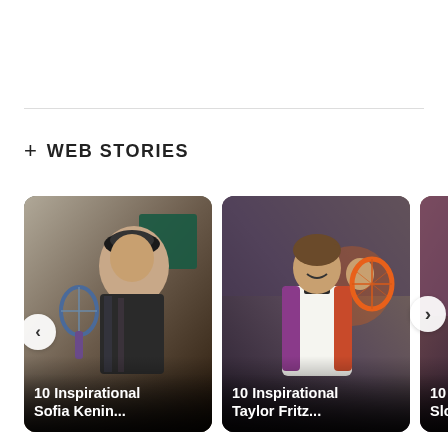+ WEB STORIES
[Figure (photo): Tennis player Sofia Kenin holding a racket on a clay court, with a teal logo visible in background. Card reads '10 Inspirational Sofia Kenin...']
[Figure (photo): Taylor Fritz holding an orange tennis racket and smiling, wearing a retro-style polo shirt. Card reads '10 Inspirational Taylor Fritz...']
[Figure (photo): Partially visible card of Sloane Stephens. Card reads '10 Inspira... Sloane...']